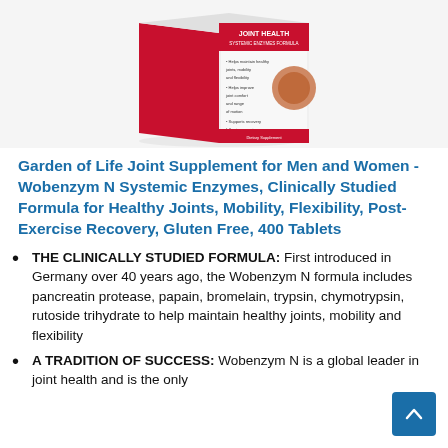[Figure (photo): Product image of Garden of Life Wobenzym N Joint Health supplement box showing red and white packaging with bullet points and a joint illustration]
Garden of Life Joint Supplement for Men and Women - Wobenzym N Systemic Enzymes, Clinically Studied Formula for Healthy Joints, Mobility, Flexibility, Post-Exercise Recovery, Gluten Free, 400 Tablets
THE CLINICALLY STUDIED FORMULA: First introduced in Germany over 40 years ago, the Wobenzym N formula includes pancreatin protease, papain, bromelain, trypsin, chymotrypsin, rutoside trihydrate to help maintain healthy joints, mobility and flexibility
A TRADITION OF SUCCESS: Wobenzym N is a global leader in joint health and is the only